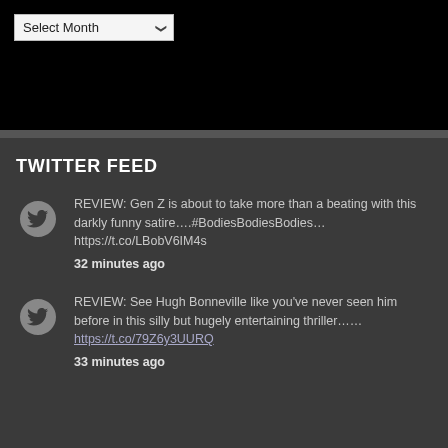[Figure (screenshot): Dropdown selector showing 'Select Month' with a chevron, on a black background]
TWITTER FEED
REVIEW: Gen Z is about to take more than a beating with this darkly funny satire….#BodiesBodiesBodies… https://t.co/LBobV6IM4s
32 minutes ago
REVIEW: See Hugh Bonneville like you've never seen him before in this silly but hugely entertaining thriller……
https://t.co/79Z6y3UURQ
33 minutes ago